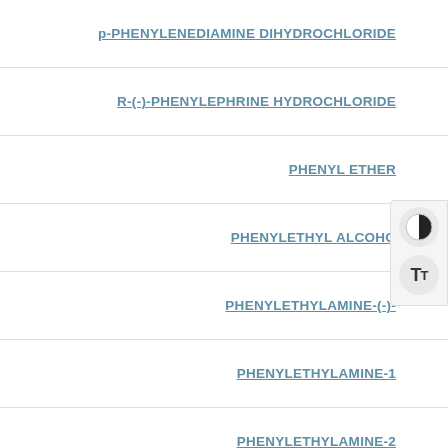p-PHENYLENEDIAMINE DIHYDROCHLORIDE
R-(-)-PHENYLEPHRINE HYDROCHLORIDE
PHENYL ETHER
PHENYLETHYL ALCOHOL
PHENYLETHYLAMINE-(-)-
PHENYLETHYLAMINE-1
PHENYLETHYLAMINE-2